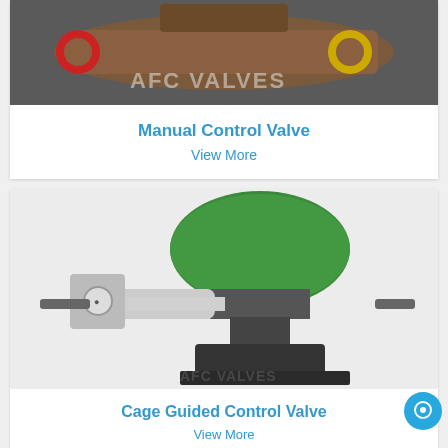[Figure (photo): Photo of a Manual Control Valve (brown/bronze body with red and yellow flanges) with AFC Valves watermark]
Manual Control Valve
View More
[Figure (photo): Photo of a Cage Guided Control Valve with green pneumatic actuator on top and black body, AFC Valves watermark]
Cage Guided Control Valve
View More